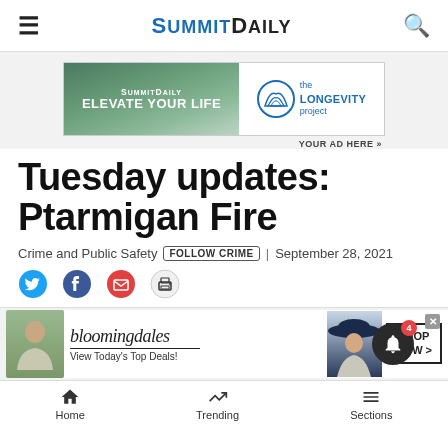Summit Daily
[Figure (advertisement): Summit Daily / The Longevity Project advertisement banner with text ELEVATE YOUR LIFE]
YOUR AD HERE »
Tuesday updates: Ptarmigan Fire
Crime and Public Safety  FOLLOW CRIME  | September 28, 2021
[Figure (infographic): Social share icons: Twitter, Facebook, Email, Print]
[Figure (advertisement): Bloomingdales advertisement: View Today's Top Deals! SHOP NOW >]
Home  Trending  Sections